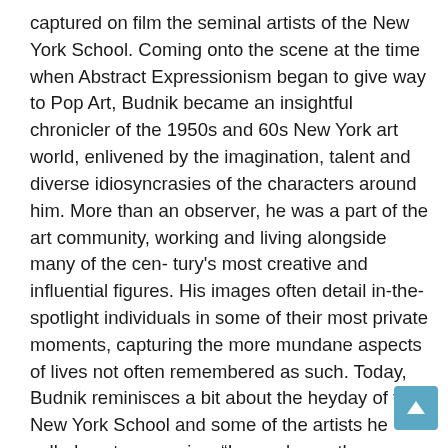captured on film the seminal artists of the New York School. Coming onto the scene at the time when Abstract Expressionism began to give way to Pop Art, Budnik became an insightful chronicler of the 1950s and 60s New York art world, enlivened by the imagination, talent and diverse idiosyncrasies of the characters around him. More than an observer, he was a part of the art community, working and living alongside many of the cen- tury's most creative and influential figures. His images often detail in-the-spotlight individuals in some of their most private moments, capturing the more mundane aspects of lives not often remembered as such. Today, Budnik reminisces a bit about the heyday of the New York School and some of the artists he called contemporaries. “I was always the young one,” Budnik explains, recount-ing how, as a bright-eyed young photographer of 18, he first came into contact with the subjects of his renowned images.

“Of all the ar tists I pho- tographed, I got to know de Kooning and David Smith the best,” he recounts. Budnik first met de